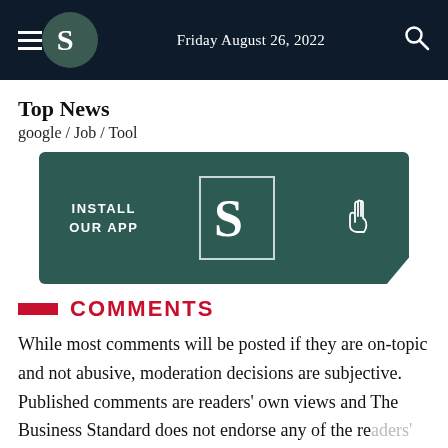Friday August 26, 2022
Top News
google / Job / Tool
[Figure (other): App install banner with 'INSTALL OUR APP' text, Business Standard logo (B in a box), and a cursor/hand icon on a dark teal background]
COMMENTS
While most comments will be posted if they are on-topic and not abusive, moderation decisions are subjective. Published comments are readers' own views and The Business Standard does not endorse any of the readers' comments.